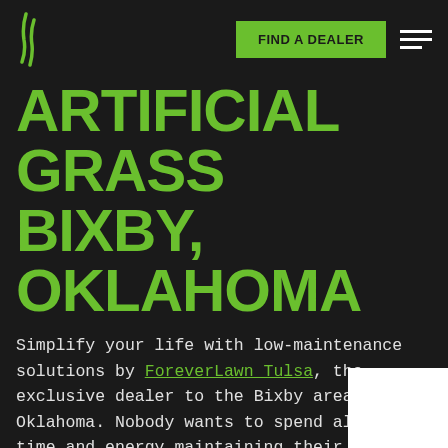FIND A DEALER
ARTIFICIAL GRASS BIXBY, OKLAHOMA
Simplify your life with low-maintenance solutions by ForeverLawn Tulsa, the exclusive dealer to the Bixby area in Oklahoma. Nobody wants to spend all their time and energy maintaining their lawn. Whether you own a home or a business, our high quality, professional products are designed with special features that make them uniquely suited to your needs and purposes.
EXEMPLARY CUSTOMER SERVICE